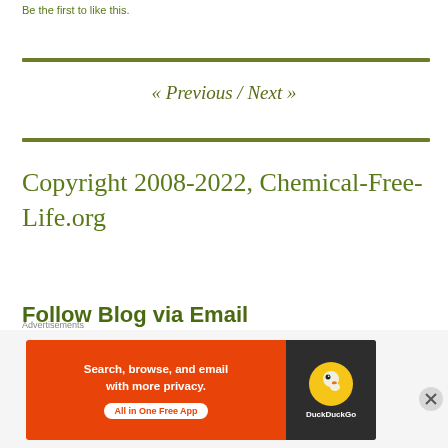Be the first to like this.
« Previous  /  Next »
Copyright 2008-2022, Chemical-Free-Life.org
Follow Blog via Email
Enter your email address to follow this blo
[Figure (screenshot): DuckDuckGo advertisement banner: orange background with text 'Search, browse, and email with more privacy. All in One Free App' and DuckDuckGo logo on dark background.]